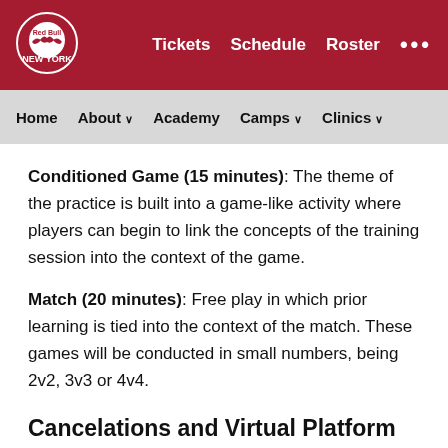[Figure (logo): Red Bulls New York logo in top navigation bar]
Tickets   Schedule   Roster   ...
Home   About   Academy   Camps   Clinics
Conditioned Game (15 minutes): The theme of the practice is built into a game-like activity where players can begin to link the concepts of the training session into the context of the game.
Match (20 minutes): Free play in which prior learning is tied into the context of the match. These games will be conducted in small numbers, being 2v2, 3v3 or 4v4.
Cancelations and Virtual Platform